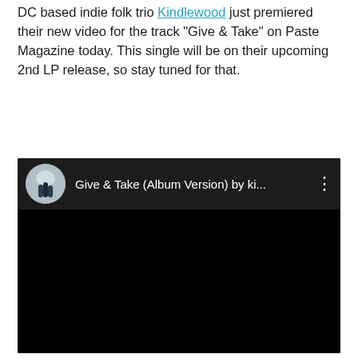DC based indie folk trio Kindlewood just premiered their new video for the track "Give & Take" on Paste Magazine today. This single will be on their upcoming 2nd LP release, so stay tuned for that.
[Figure (screenshot): Embedded music player showing 'Give & Take (Album Version) by ki...' with a circular album art thumbnail showing silhouettes of three people against a light background, on a dark player interface with three-dot menu icon, and a black video area below.]